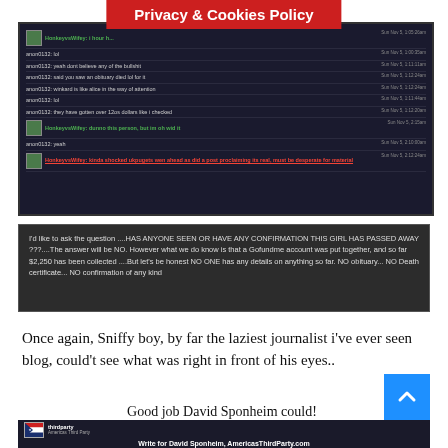Privacy & Cookies Policy
[Figure (screenshot): Chat log screenshot showing a conversation with users 'HonkeyvsWifey' and 'anon0132' discussing disbelief in a story. Messages include timestamps. One highlighted message in red underline reads: 'kinda shocked ukpugets wen ahead as did a post proclaiming its real, must be desperate for material']
[Figure (screenshot): Dark background text box reading: 'I'd like to ask the question ....HAS ANYONE SEEN OR HAVE ANY CONFIRMATION THIS GIRL HAS PASSED AWAY ???....The answer will be NO. However what we do know is that a Gofundme account was put together, and so far $2,250 has been collected ....But let's be honest NO ONE has any details on anything so far. NO obituary... NO Death certificate... NO confirmation of any kind']
Once again, Sniffy boy, by far the laziest journalist i've ever seen blog, could't see what was right in front of his eyes..
Good job David Sponheim could!
[Figure (screenshot): Bottom portion showing thirdparty / Americas Third Party page header with text 'Write for David Sponheim, AmericasThirdParty.com']